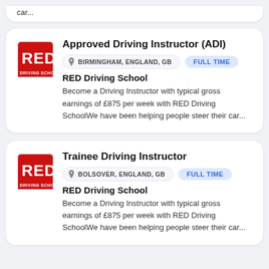car...
Approved Driving Instructor (ADI)
BIRMINGHAM, ENGLAND, GB  FULL TIME
RED Driving School
Become a Driving Instructor with typical gross earnings of £875 per week with RED Driving SchoolWe have been helping people steer their car...
Trainee Driving Instructor
BOLSOVER, ENGLAND, GB  FULL TIME
RED Driving School
Become a Driving Instructor with typical gross earnings of £875 per week with RED Driving SchoolWe have been helping people steer their car...